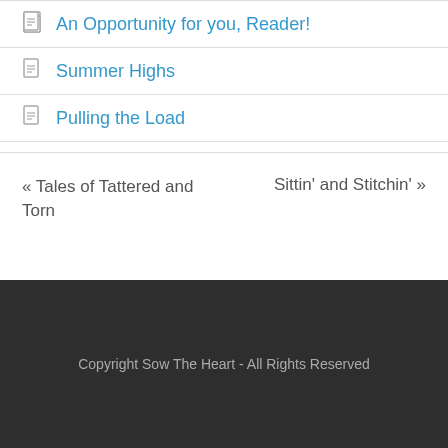An Opportunity for you, Reader!
Summer Highs
Pulling the Load
« Tales of Tattered and Torn    Sittin' and Stitchin' »
Copyright Sow The Heart - All Rights Reserved